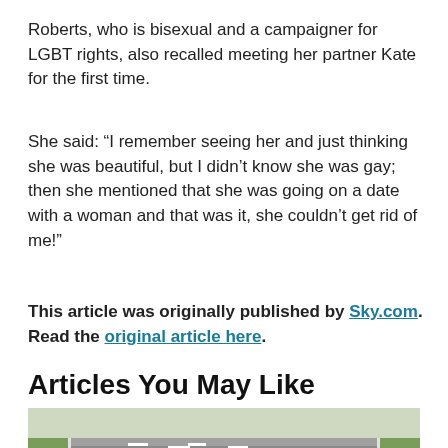Roberts, who is bisexual and a campaigner for LGBT rights, also recalled meeting her partner Kate for the first time.
She said: “I remember seeing her and just thinking she was beautiful, but I didn’t know she was gay; then she mentioned that she was going on a date with a woman and that was it, she couldn’t get rid of me!”
This article was originally published by Sky.com. Read the original article here.
Articles You May Like
[Figure (photo): Aerial view of a motorway with cars and a white SUV driving on a multi-lane road with grass verges on either side.]